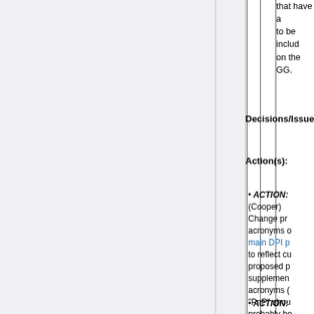that have a to be inclu on the GG.
Decisions/Issues:
Action(s):
ACTION: (Cooper) Change pr acronyms o main DPI p to reflect cu proposed p supplemen acronyms ( "PnP" shou probably be "DnA"). (Complete)
ACTION: